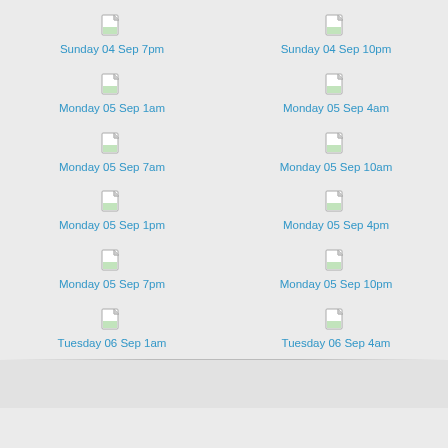[Figure (illustration): File icon for Sunday 04 Sep 7pm]
Sunday 04 Sep 7pm
[Figure (illustration): File icon for Sunday 04 Sep 10pm]
Sunday 04 Sep 10pm
[Figure (illustration): File icon for Monday 05 Sep 1am]
Monday 05 Sep 1am
[Figure (illustration): File icon for Monday 05 Sep 4am]
Monday 05 Sep 4am
[Figure (illustration): File icon for Monday 05 Sep 7am]
Monday 05 Sep 7am
[Figure (illustration): File icon for Monday 05 Sep 10am]
Monday 05 Sep 10am
[Figure (illustration): File icon for Monday 05 Sep 1pm]
Monday 05 Sep 1pm
[Figure (illustration): File icon for Monday 05 Sep 4pm]
Monday 05 Sep 4pm
[Figure (illustration): File icon for Monday 05 Sep 7pm]
Monday 05 Sep 7pm
[Figure (illustration): File icon for Monday 05 Sep 10pm]
Monday 05 Sep 10pm
[Figure (illustration): File icon for Tuesday 06 Sep 1am]
Tuesday 06 Sep 1am
[Figure (illustration): File icon for Tuesday 06 Sep 4am]
Tuesday 06 Sep 4am